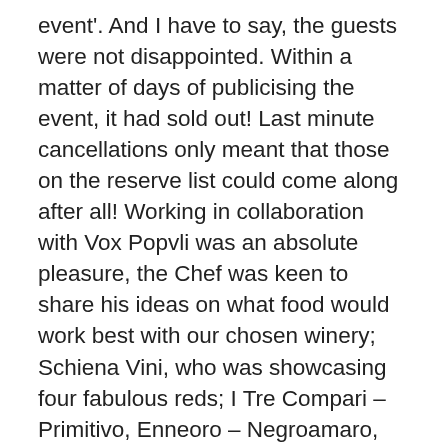event'. And I have to say, the guests were not disappointed. Within a matter of days of publicising the event, it had sold out! Last minute cancellations only meant that those on the reserve list could come along after all! Working in collaboration with Vox Popvli was an absolute pleasure, the Chef was keen to share his ideas on what food would work best with our chosen winery; Schiena Vini, who was showcasing four fabulous reds; I Tre Compari – Primitivo, Enneoro – Negroamaro, Messapico – Salice Salentino and Impero – Primitivo di Manduria DOC. With these reds in mind and the thought-provoking menu, the title of the event was born; 'Rosso Velluto' Red Velvet! Very